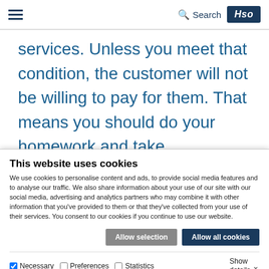HSO — Search (header navigation bar with hamburger menu and HSO logo)
services. Unless you meet that condition, the customer will not be willing to pay for them. That means you should do your homework and take prerequisites: Get your master data in order and ensure
This website uses cookies
We use cookies to personalise content and ads, to provide social media features and to analyse our traffic. We also share information about your use of our site with our social media, advertising and analytics partners who may combine it with other information that you've provided to them or that they've collected from your use of their services. You consent to our cookies if you continue to use our website.
Allow selection | Allow all cookies
Necessary (checked) | Preferences | Statistics | Marketing | Show details